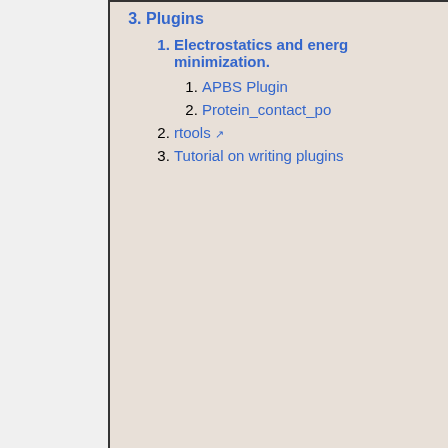3. Plugins
1. Electrostatics and energy minimization.
1. APBS Plugin
2. Protein_contact_po...
2. rtools
3. Tutorial on writing plugins
This page was last edited on 28 March 2014, at 21:17.
Content is available under GNU Free Documentation License 1.3 or later unless otherwise noted.
Privacy policy   About PyMOL Wiki   Disclaimers
[Figure (logo): GNU FDL Free Doc License badge and MediaWiki Powered By badge]